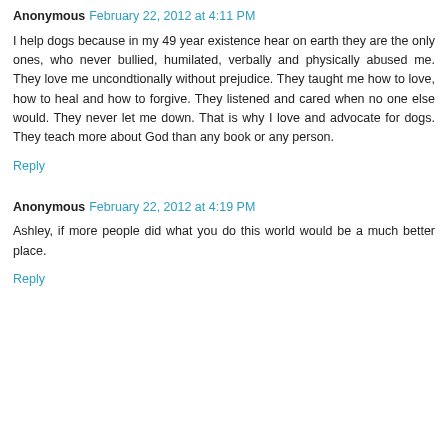Anonymous  February 22, 2012 at 4:11 PM
I help dogs because in my 49 year existence hear on earth they are the only ones, who never bullied, humilated, verbally and physically abused me. They love me uncondtionally without prejudice. They taught me how to love, how to heal and how to forgive. They listened and cared when no one else would. They never let me down. That is why I love and advocate for dogs. They teach more about God than any book or any person.
Reply
Anonymous  February 22, 2012 at 4:19 PM
Ashley, if more people did what you do this world would be a much better place.
Reply